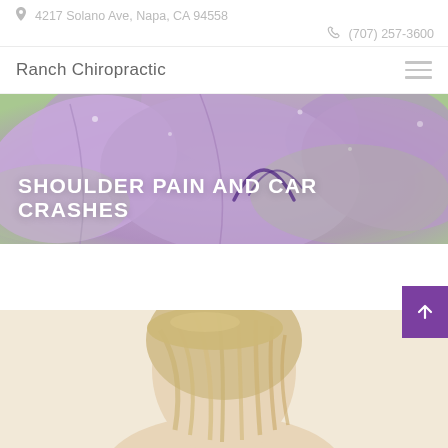4217 Solano Ave, Napa, CA 94558
(707) 257-3600
Ranch Chiropractic
SHOULDER PAIN AND CAR CRASHES
[Figure (photo): Purple iris flowers with water droplets as hero banner background]
[Figure (photo): Back of a blonde person's head, partial view, against a light beige background]